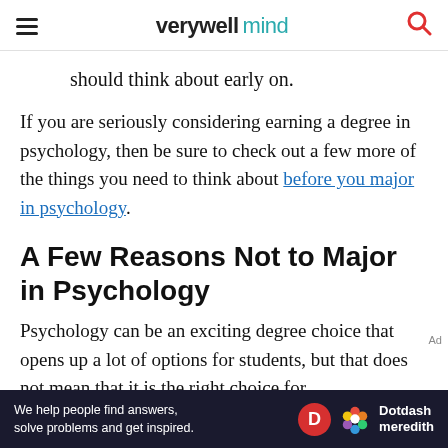verywell mind
should think about early on.
If you are seriously considering earning a degree in psychology, then be sure to check out a few more of the things you need to think about before you major in psychology.
A Few Reasons Not to Major in Psychology
Psychology can be an exciting degree choice that opens up a lot of options for students, but that does not mean that it is the right choice for
[Figure (other): Dotdash Meredith advertisement banner at page bottom]